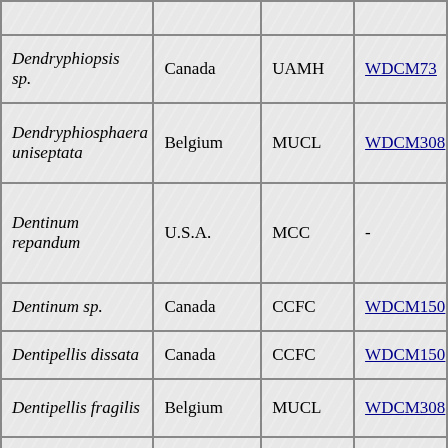| Species | Country | Collection | WDCM |
| --- | --- | --- | --- |
| Dendryphiopsis sp. | Canada | UAMH | WDCM73 |
| Dendryphiosphaera uniseptata | Belgium | MUCL | WDCM308 |
| Dentinum repandum | U.S.A. | MCC | - |
| Dentinum sp. | Canada | CCFC | WDCM150 |
| Dentipellis dissata | Canada | CCFC | WDCM150 |
| Dentipellis fragilis | Belgium | MUCL | WDCM308 |
| Dentipellis fragilis | Netherlands | CBS | WDCM133 |
| Dentipellis fragilis | Sweden | FCUC | WDCM65 |